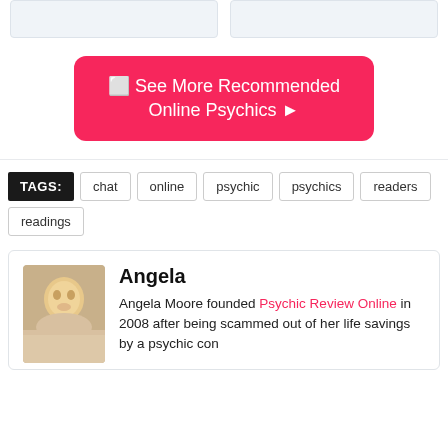[Figure (other): Two placeholder card images at the top of the page]
🔮 See More Recommended Online Psychics ▶
TAGS: chat  online  psychic  psychics  readers  readings
Angela
Angela Moore founded Psychic Review Online in 2008 after being scammed out of her life savings by a psychic con